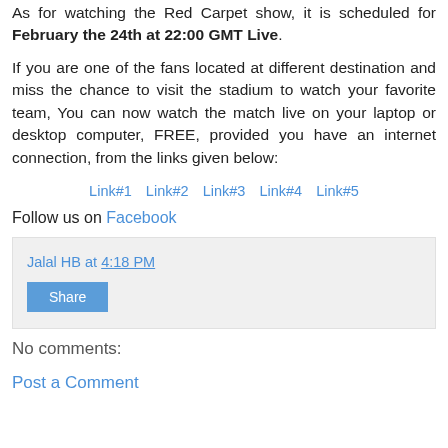As for watching the Red Carpet show, it is scheduled for February the 24th at 22:00 GMT Live.
If you are one of the fans located at different destination and miss the chance to visit the stadium to watch your favorite team, You can now watch the match live on your laptop or desktop computer, FREE, provided you have an internet connection, from the links given below:
Link#1   Link#2   Link#3   Link#4   Link#5
Follow us on Facebook
Jalal HB at 4:18 PM
Share
No comments:
Post a Comment